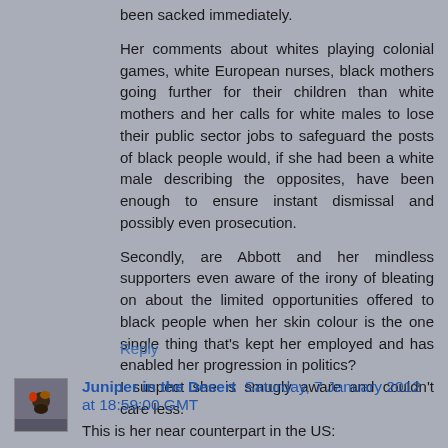been sacked immediately.
Her comments about whites playing colonial games, white European nurses, black mothers going further for their children than white mothers and her calls for white males to lose their public sector jobs to safeguard the posts of black people would, if she had been a white male describing the opposites, have been enough to ensure instant dismissal and possibly even prosecution.

Secondly, are Abbott and her mindless supporters even aware of the irony of bleating on about the limited opportunities offered to black people when her skin colour is the one single thing that's kept her employed and has enabled her progression in politics?
I suspect she is smugly aware and couldn't care less.
Reply
Juniper in the Desert Saturday, 7 January 2012 at 18:59:00 GMT
This is her near counterpart in the US: